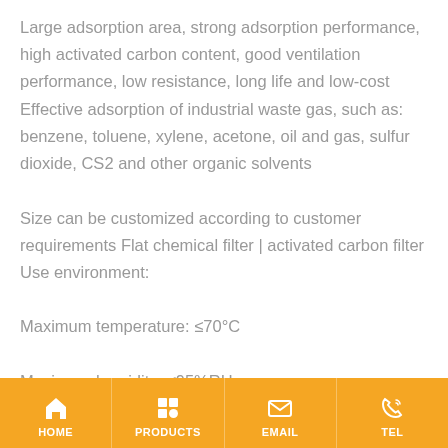Large adsorption area, strong adsorption performance, high activated carbon content, good ventilation performance, low resistance, long life and low-cost Effective adsorption of industrial waste gas, such as: benzene, toluene, xylene, acetone, oil and gas, sulfur dioxide, CS2 and other organic solvents

Size can be customized according to customer requirements Flat chemical filter | activated carbon filter Use environment:

Maximum temperature: ≤70°C

Maximum humidity: ≤95%RH
HOME | PRODUCTS | EMAIL | TEL